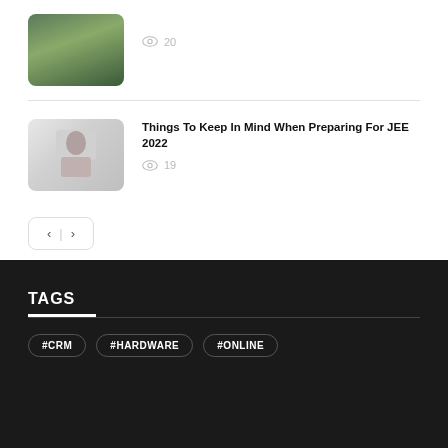[Figure (photo): Thumbnail image of a path/walkway in a green outdoor setting]
20
[Figure (photo): Woman with glasses working on laptop]
Things To Keep In Mind When Preparing For JEE 2022
19
TAGS
#CRM
#HARDWARE
#ONLINE